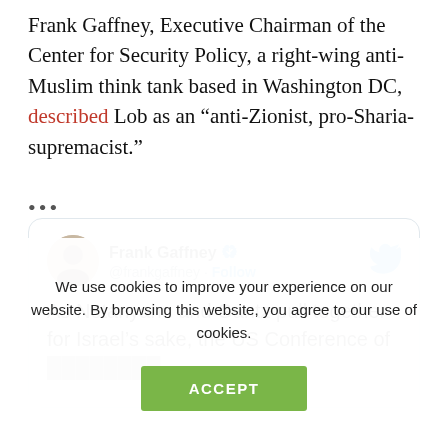Frank Gaffney, Executive Chairman of the Center for Security Policy, a right-wing anti-Muslim think tank based in Washington DC, described Lob as an “anti-Zionist, pro-Sharia-supremacist.”
[Figure (screenshot): Embedded tweet from @frankgaffney (Frank Gaffney, verified) showing partial tweet text: 'As Netanyahu and Gantz pull together for Israel’s sake, the US Conference of [cut off]' with Twitter bird logo in top right.]
We use cookies to improve your experience on our website. By browsing this website, you agree to our use of cookies.
ACCEPT